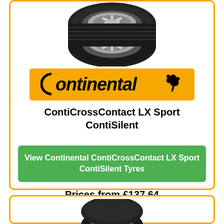[Figure (photo): Continental ContiCrossContact LX Sport ContiSilent tyre product photo, top view angle, black tyre with silver alloy wheel]
[Figure (logo): Continental brand logo on orange/yellow background with horse silhouette]
ContiCrossContact LX Sport ContiSilent
View Continental ContiCrossContact LX Sport ContiSilent Tyres
Prices from £137.64
[Figure (photo): Second tyre product photo, partially visible at bottom of page]